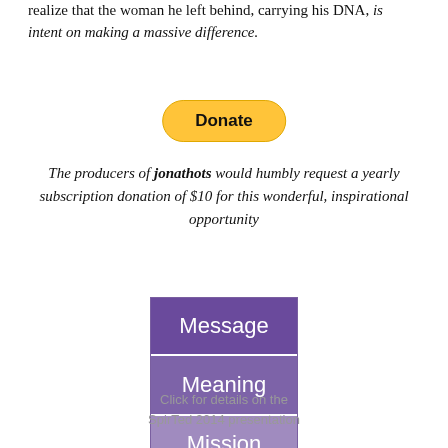realize that the woman he left behind, carrying his DNA, is intent on making a massive difference.
[Figure (other): Yellow PayPal Donate button with rounded rectangle shape, bold black text reading 'Donate']
The producers of jonathots would humbly request a yearly subscription donation of $10 for this wonderful, inspirational opportunity
[Figure (infographic): Stacked box graphic with three purple/lavender sections labeled: Message (dark purple), Meaning (medium purple), Mission (light purple/lavender), each in white text. Surrounded by a thin purple border.]
Click for details on the SpirTed 2014 presentation